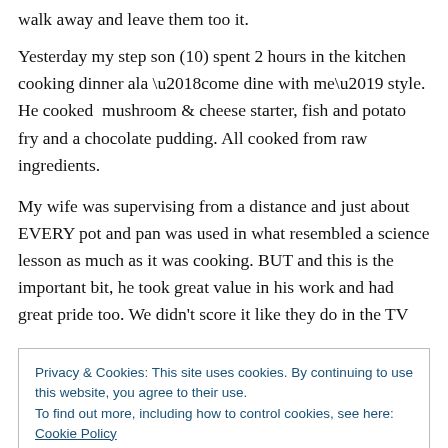walk away and leave them too it.
Yesterday my step son (10) spent 2 hours in the kitchen cooking dinner ala ‘come dine with me’ style. He cooked mushroom & cheese starter, fish and potato fry and a chocolate pudding. All cooked from raw ingredients.
My wife was supervising from a distance and just about EVERY pot and pan was used in what resembled a science lesson as much as it was cooking. BUT and this is the important bit, he took great value in his work and had great pride too. We didn't score it like they do in the TV
Privacy & Cookies: This site uses cookies. By continuing to use this website, you agree to their use.
To find out more, including how to control cookies, see here: Cookie Policy
have the life skills and right attitude for success in today's